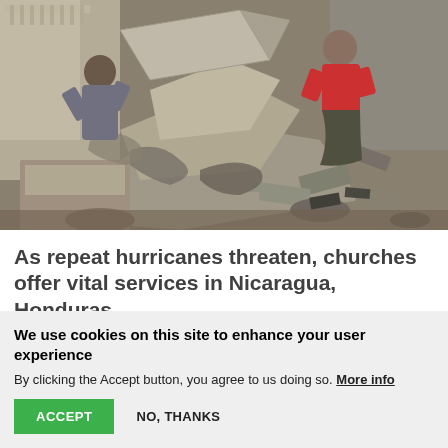[Figure (photo): Two people sorting through rubble and debris after hurricane damage in Central America. A man on the left lifts a large concrete slab, while a woman in a red shirt stands on top of debris on the right.]
As repeat hurricanes threaten, churches offer vital services in Nicaragua, Honduras
We use cookies on this site to enhance your user experience
By clicking the Accept button, you agree to us doing so. More info
ACCEPT   NO, THANKS